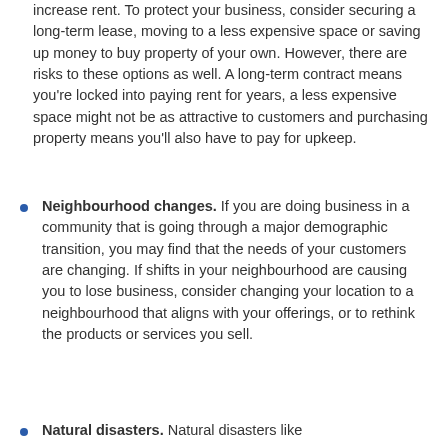increase rent. To protect your business, consider securing a long-term lease, moving to a less expensive space or saving up money to buy property of your own. However, there are risks to these options as well. A long-term contract means you're locked into paying rent for years, a less expensive space might not be as attractive to customers and purchasing property means you'll also have to pay for upkeep.
Neighbourhood changes. If you are doing business in a community that is going through a major demographic transition, you may find that the needs of your customers are changing. If shifts in your neighbourhood are causing you to lose business, consider changing your location to a neighbourhood that aligns with your offerings, or to rethink the products or services you sell.
Natural disasters. Natural disasters like